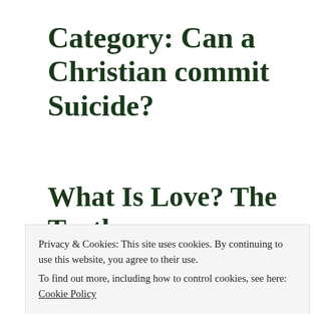Category: Can a Christian commit Suicide?
What Is Love? The Truth
[Figure (photo): Dark cloudy sky with light breaking through clouds, horizon landscape]
Privacy & Cookies: This site uses cookies. By continuing to use this website, you agree to their use.
To find out more, including how to control cookies, see here:
Cookie Policy
Close and accept